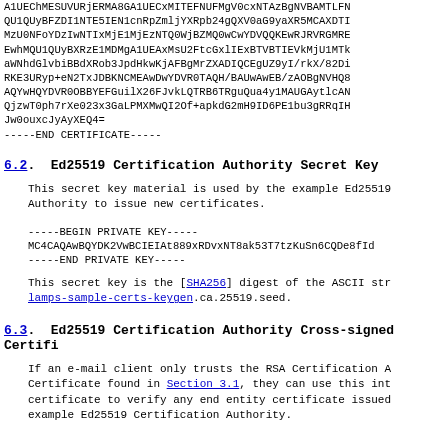A1UEChMESUVURjERMA8GA1UECxMITEFNUFMgV0cxNTAzBgNVBAMTLFN QU1QUyBFZDI1NTE5IEN1cnRpZmljYXRpb24gQXV0aG9yaXR5MCAXDTI MzU0NFoYDzIwNTIxMjE1MjEzNTQ0WjBZMQ0wCwYDVQQKEwRJRVRGMRE EwhMQU1QUyBXRzE1MDMgA1UEAxMsU2FtcGxlIExBTVBTIEVkMjU1MTk aWNhdGlvbiBBdXRob3JpdHkwKjAFBgMrZXADIQCEgUZ9yI/rkX/82Di RKE3URyp+eN2TxJDBKNCMEAwDwYDVR0TAQH/BAUwAwEB/zAOBgNVHQ8 AQYwHQYDVR0OBBYEFGuilX26FJvkLQTRB6TRguQua4y1MAUGAytlcAN QjzwT0ph7rXe023x3GaLPMXMwQI2Of+apkdG2mH9ID6PE1bu3gRRqIH Jw0ouxcJyAyXEQ4= -----END CERTIFICATE-----
6.2. Ed25519 Certification Authority Secret Key
This secret key material is used by the example Ed25519 Authority to issue new certificates.
-----BEGIN PRIVATE KEY----- MC4CAQAwBQYDK2VwBCIEIAt889xRDvxNT8ak53T7tzKuSn6CQDe8fId -----END PRIVATE KEY-----
This secret key is the [SHA256] digest of the ASCII str lamps-sample-certs-keygen.ca.25519.seed.
6.3. Ed25519 Certification Authority Cross-signed Certifi
If an e-mail client only trusts the RSA Certification A Certificate found in Section 3.1, they can use this int certificate to verify any end entity certificate issued example Ed25519 Certification Authority.